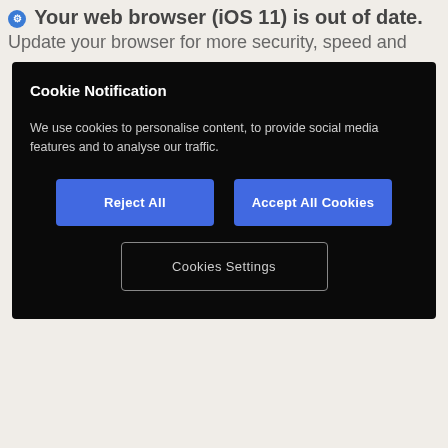⚙ Your web browser (iOS 11) is out of date. Update your browser for more security, speed and
Cookie Notification
We use cookies to personalise content, to provide social media features and to analyse our traffic.
Reject All
Accept All Cookies
Cookies Settings